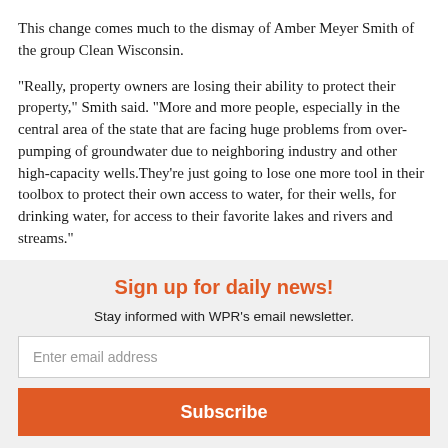This change comes much to the dismay of Amber Meyer Smith of the group Clean Wisconsin.
"Really, property owners are losing their ability to protect their property," Smith said. "More and more people, especially in the central area of the state that are facing huge problems from over-pumping of groundwater due to neighboring industry and other high-capacity wells.They're just going to lose one more tool in their toolbox to protect their own access to water, for their wells, for drinking water, for access to their favorite lakes and rivers and streams."
Sign up for daily news!
Stay informed with WPR's email newsletter.
Enter email address
Subscribe